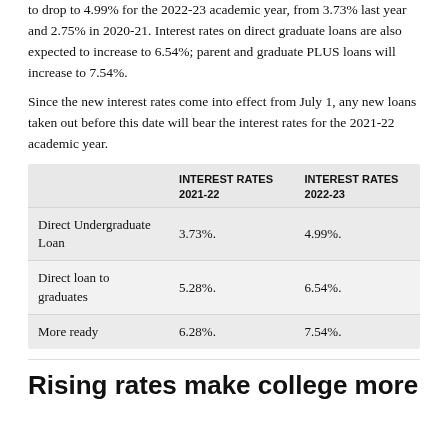to drop to 4.99% for the 2022-23 academic year, from 3.73% last year and 2.75% in 2020-21. Interest rates on direct graduate loans are also expected to increase to 6.54%; parent and graduate PLUS loans will increase to 7.54%.
Since the new interest rates come into effect from July 1, any new loans taken out before this date will bear the interest rates for the 2021-22 academic year.
|  | INTEREST RATES 2021-22 | INTEREST RATES 2022-23 |
| --- | --- | --- |
| Direct Undergraduate Loan | 3.73%. | 4.99%. |
| Direct loan to graduates | 5.28%. | 6.54%. |
| More ready | 6.28%. | 7.54%. |
Rising rates make college more